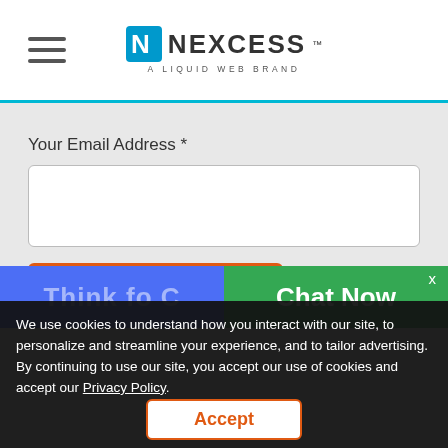NEXCESS — A LIQUID WEB BRAND
Your Email Address *
[Figure (screenshot): Email input field (empty white text box)]
SIGN UP NOW
Chat Now
We use cookies to understand how you interact with our site, to personalize and streamline your experience, and to tailor advertising. By continuing to use our site, you accept our use of cookies and accept our Privacy Policy.
Accept